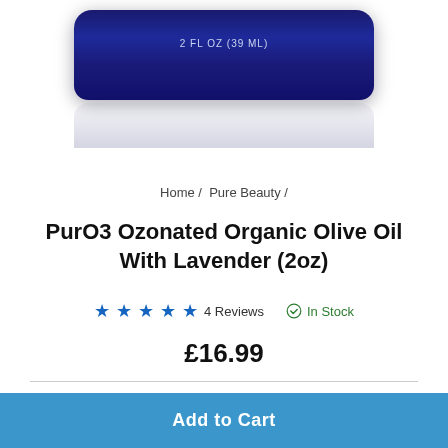[Figure (photo): Bottom portion of a dark navy blue jar/container with label text '2 FL OZ (39 ML)' visible, with a reflection below it on a white surface.]
Home / Pure Beauty /
PurO3 Ozonated Organic Olive Oil With Lavender (2oz)
★★★★★ 4 Reviews   ✓ In Stock
£16.99
Quantity
1 ∨
Add to Cart